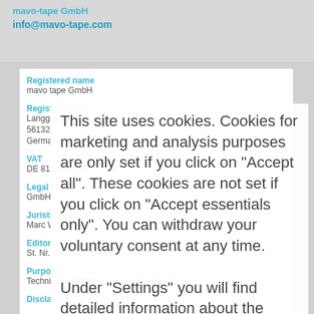mavo-tape GmbH
info@mavo-tape.com
Registered name
mavo tape GmbH
Registered city
Langgasse 09
56132
Germany
VAT
DE 815 328 202
Legal form
GmbH
Juristic person
Marc W...
Editorial consent
St. Nr. 30 / 670 / 10629
Purpose
Technische Klebebänder und Formstanzteile
Disclaimer
This site uses cookies. Cookies for marketing and analysis purposes are only set if you click on "Accept all". These cookies are not set if you click on "Accept essentials only". You can withdraw your voluntary consent at any time.

Under "Settings" you will find detailed information about the cookies used and you can manage them yourself.

You can find more information about